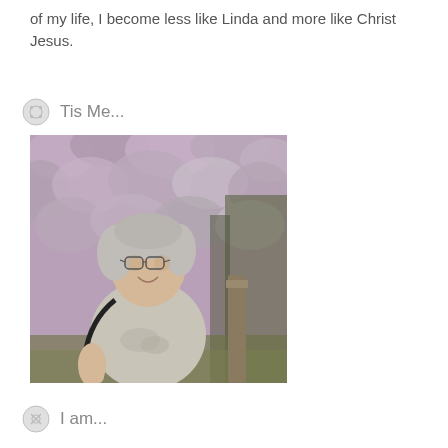of my life, I become less like Linda and more like Christ Jesus.
Tis Me...
[Figure (photo): A smiling middle-aged woman with short gray hair and glasses, wearing a light gray t-shirt with a floral print and a black shoulder bag, standing in front of a flowering pink/purple bush or shrub, with a wooden fence post visible to her right.]
I am...